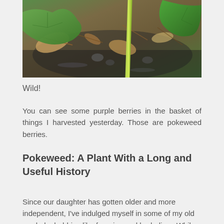[Figure (photo): Close-up photograph of green plant leaves and stems on a forest floor with brown dried leaves, dirt, mulch, and a yellow-green plant stem visible]
Wild!
You can see some purple berries in the basket of things I harvested yesterday. Those are pokeweed berries.
Pokeweed: A Plant With a Long and Useful History
Since our daughter has gotten older and more independent, I've indulged myself in some of my old pre-baby hobbies like foraging and herbalism. While the internet will tell you that pokeweed is t